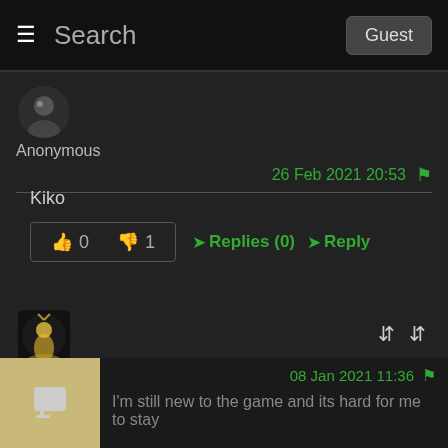Search  Guest
[Figure (screenshot): Anonymous user avatar - dark circular silhouette]
Anonymous
26 Feb 2021 20:53 🚩
Kiko
👍 0   👎 1   ➤Replies (0)   ➤Reply
[Figure (screenshot): FullCabbage user avatar - glowing figure silhouette]
FullCabbage
08 Jan 2021 11:36 🚩
I'm still new to the game and its hard for me to stay